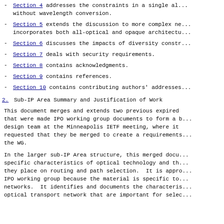- Section 4 addresses the constraints in a single all-optical network without wavelength conversion.
- Section 5 extends the discussion to more complex networks that incorporates both all-optical and opaque architectures.
- Section 6 discusses the impacts of diversity constraints.
- Section 7 deals with security requirements.
- Section 8 contains acknowledgments.
- Section 9 contains references.
- Section 10 contains contributing authors' addresses.
2. Sub-IP Area Summary and Justification of Work
This document merges and extends two previous expired documents that were made IPO working group documents to form a by the design team at the Minneapolis IETF meeting, where it was requested that they be merged to create a requirements document for the WG.
In the larger sub-IP Area structure, this merged document highlights specific characteristics of optical technology and the constraints they place on routing and path selection. It is appropriate to the IPO working group because the material is specific to optical networks. It identifies and documents the characteristics of an optical transport network that are important for selection